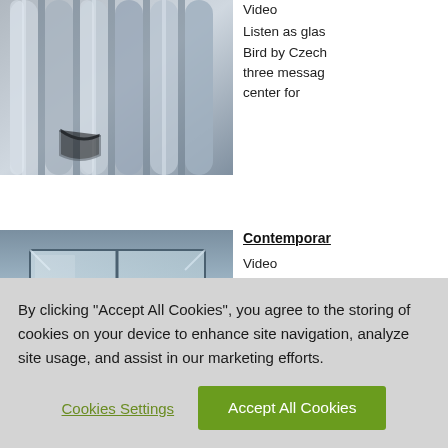[Figure (photo): Photo of metallic glass rods or pipes arranged closely together, silver/gray tones]
Video
Listen as glas Bird by Czech three messag center for
[Figure (photo): Photo of a glass or transparent box/container with golden/amber liquid or material inside]
Contemporary

Video
Some of this Chair, on the was also desi
[Figure (photo): Steuben logo or patterned text image in dark background]
Steuben Caso
By clicking “Accept All Cookies”, you agree to the storing of cookies on your device to enhance site navigation, analyze site usage, and assist in our marketing efforts.
Cookies Settings
Accept All Cookies